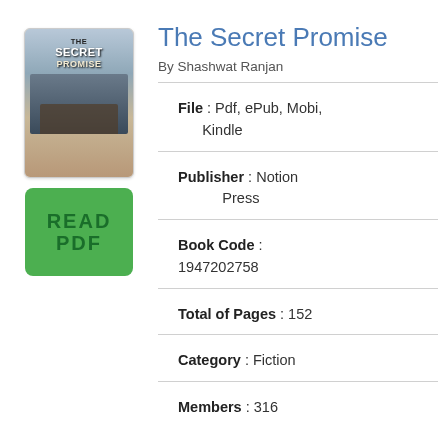[Figure (illustration): Book cover for 'The Secret Promise' showing a dark scenic image with text overlay]
[Figure (other): Green READ PDF button]
The Secret Promise
By Shashwat Ranjan
File : Pdf, ePub, Mobi, Kindle
Publisher : Notion Press
Book Code : 1947202758
Total of Pages : 152
Category : Fiction
Members : 316